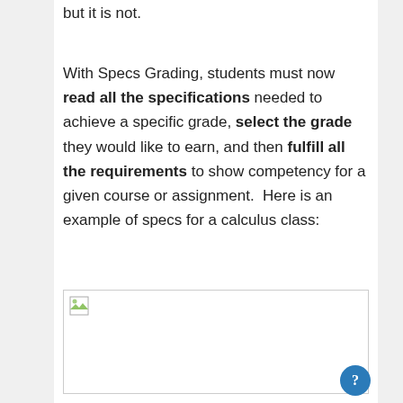but it is not.
With Specs Grading, students must now read all the specifications needed to achieve a specific grade, select the grade they would like to earn, and then fulfill all the requirements to show competency for a given course or assignment.  Here is an example of specs for a calculus class:
[Figure (other): Broken/placeholder image icon in a bordered rectangle, representing an embedded image of specs for a calculus class]